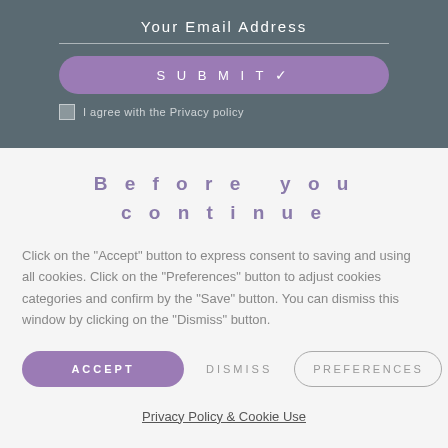Your Email Address
[Figure (screenshot): Submit button (purple rounded rectangle) with checkmark icon and text 'SUBMIT ✓']
I agree with the Privacy policy
Before you continue
Click on the "Accept" button to express consent to saving and using all cookies. Click on the "Preferences" button to adjust cookies categories and confirm by the "Save" button. You can dismiss this window by clicking on the "Dismiss" button.
ACCEPT   DISMISS   PREFERENCES
Privacy Policy & Cookie Use